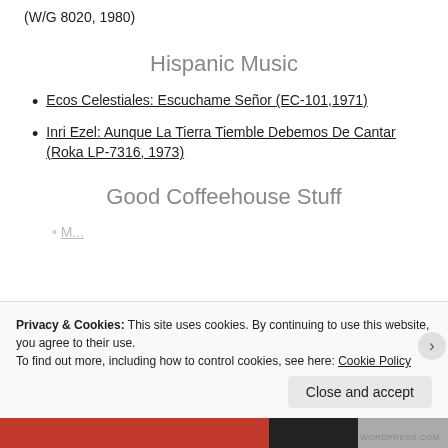(W/G 8020, 1980)
Hispanic Music
Ecos Celestiales: Escuchame Señor (EC-101,1971)
Inri Ezel: Aunque La Tierra Tiemble Debemos De Cantar (Roka LP-7316, 1973)
Good Coffeehouse Stuff
Privacy & Cookies: This site uses cookies. By continuing to use this website, you agree to their use.
To find out more, including how to control cookies, see here: Cookie Policy
Close and accept